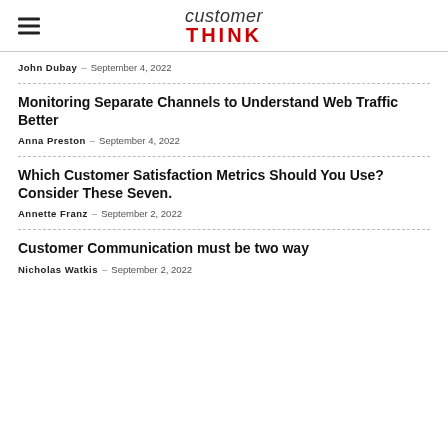customer THINK
John Dubay – September 4, 2022
Monitoring Separate Channels to Understand Web Traffic Better
Anna Preston – September 4, 2022
Which Customer Satisfaction Metrics Should You Use? Consider These Seven.
Annette Franz – September 2, 2022
Customer Communication must be two way
Nicholas Watkis – September 2, 2022